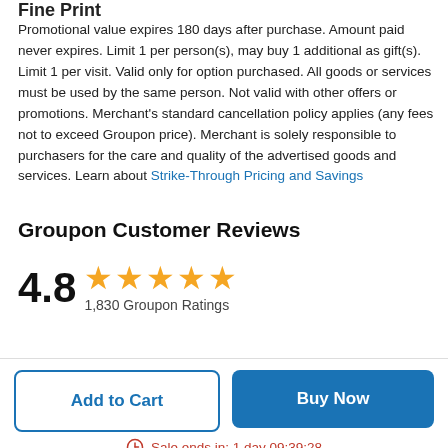Fine Print
Promotional value expires 180 days after purchase. Amount paid never expires. Limit 1 per person(s), may buy 1 additional as gift(s). Limit 1 per visit. Valid only for option purchased. All goods or services must be used by the same person. Not valid with other offers or promotions. Merchant's standard cancellation policy applies (any fees not to exceed Groupon price). Merchant is solely responsible to purchasers for the care and quality of the advertised goods and services. Learn about Strike-Through Pricing and Savings
Groupon Customer Reviews
4.8 ★★★★★ 1,830 Groupon Ratings
Add to Cart
Buy Now
Sale ends in: 1 day 09:39:28